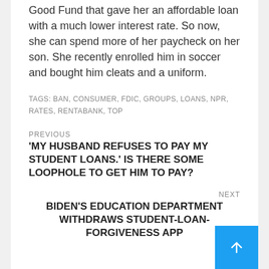Good Fund that gave her an affordable loan with a much lower interest rate. So now, she can spend more of her paycheck on her son. She recently enrolled him in soccer and bought him cleats and a uniform.
TAGS: BAN, CONSUMER, FDIC, GROUPS, LOANS, NPR, RATES, RENTABANK, TOP
PREVIOUS
'MY HUSBAND REFUSES TO PAY MY STUDENT LOANS.' IS THERE SOME LOOPHOLE TO GET HIM TO PAY?
NEXT
BIDEN'S EDUCATION DEPARTMENT WITHDRAWS STUDENT-LOAN-FORGIVENESS APP